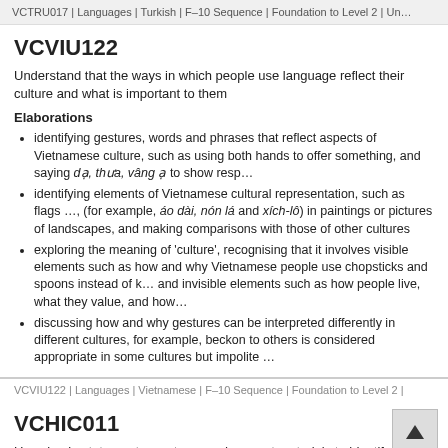VCTRU017 | Languages | Turkish | F–10 Sequence | Foundation to Level 2 | Un…
VCVIU122
Understand that the ways in which people use language reflect their culture and what is important to them
Elaborations
identifying gestures, words and phrases that reflect aspects of Vietnamese culture, such as using both hands to offer something, and saying dạ, thưa, vâng ạ to show resp…
identifying elements of Vietnamese cultural representation, such as flags … (for example, áo dài, nón lá and xích-lô) in paintings or pictures of landscapes, and making comparisons with those of other cultures
exploring the meaning of 'culture', recognising that it involves visible elements such as how and why Vietnamese people use chopsticks and spoons instead of k… and invisible elements such as how people live, what they value, and how…
discussing how and why gestures can be interpreted differently in different cultures, for example, beckon to others is considered appropriate in some cultures but impolite …
VCVIU122 | Languages | Vietnamese | F–10 Sequence | Foundation to Level 2 |
VCHIC011
Use simple statements, gestures and support materials to identify themselv…